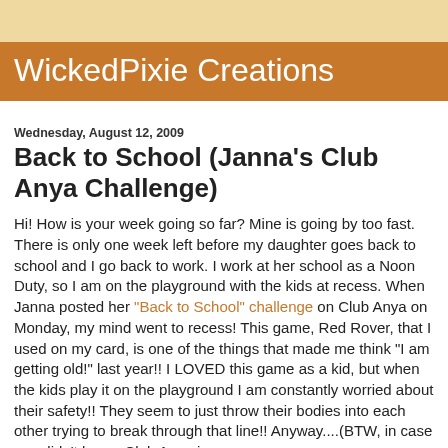WickedPixie Creations
Wednesday, August 12, 2009
Back to School (Janna's Club Anya Challenge)
Hi! How is your week going so far? Mine is going by too fast. There is only one week left before my daughter goes back to school and I go back to work. I work at her school as a Noon Duty, so I am on the playground with the kids at recess. When Janna posted her "Back to School" challenge on Club Anya on Monday, my mind went to recess! This game, Red Rover, that I used on my card, is one of the things that made me think "I am getting old!" last year!! I LOVED this game as a kid, but when the kids play it on the playground I am constantly worried about their safety!! They seem to just throw their bodies into each other trying to break through that line!! Anyway....(BTW, in case you didn't know, Club Anya is